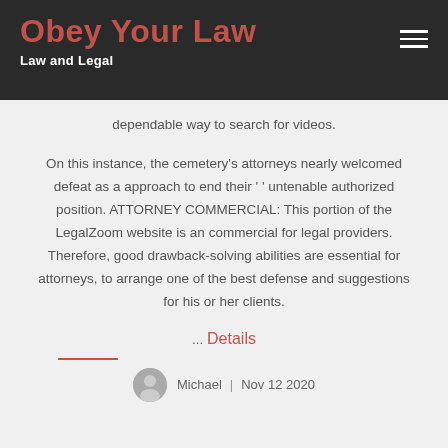Obey Your Law
Law and Legal
dependable way to search for videos.
On this instance, the cemetery's attorneys nearly welcomed defeat as a approach to end their ' ' untenable authorized position. ATTORNEY COMMERCIAL: This portion of the LegalZoom website is an commercial for legal providers. Therefore, good drawback-solving abilities are essential for attorneys, to arrange one of the best defense and suggestions for his or her clients.
... Details
Michael | Nov 12 2020